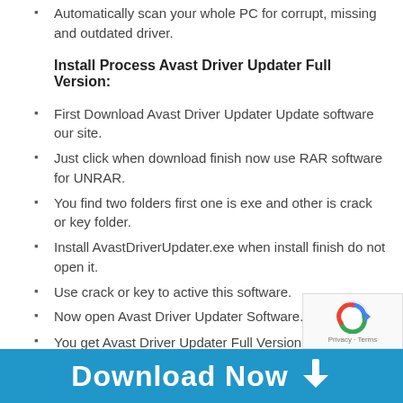Automatically scan your whole PC for corrupt, missing and outdated driver.
Install Process Avast Driver Updater Full Version:
First Download Avast Driver Updater Update software our site.
Just click when download finish now use RAR software for UNRAR.
You find two folders first one is exe and other is crack or key folder.
Install AvastDriverUpdater.exe when install finish do not open it.
Use crack or key to active this software.
Now open Avast Driver Updater Software.
You get Avast Driver Updater Full Version 🙂
[Figure (other): Blue download button banner with text 'Download Now' and a downward arrow icon]